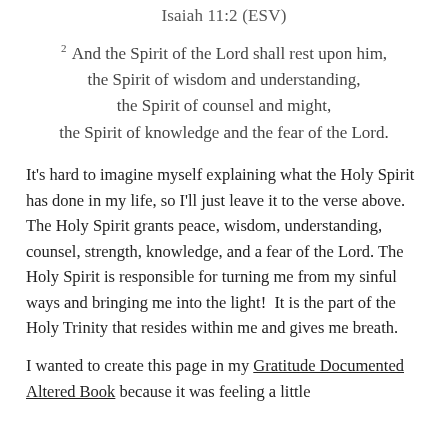Isaiah 11:2 (ESV)
2 And the Spirit of the Lord shall rest upon him, the Spirit of wisdom and understanding, the Spirit of counsel and might, the Spirit of knowledge and the fear of the Lord.
It's hard to imagine myself explaining what the Holy Spirit has done in my life, so I'll just leave it to the verse above. The Holy Spirit grants peace, wisdom, understanding, counsel, strength, knowledge, and a fear of the Lord. The Holy Spirit is responsible for turning me from my sinful ways and bringing me into the light!  It is the part of the Holy Trinity that resides within me and gives me breath.
I wanted to create this page in my Gratitude Documented Altered Book because it was feeling a little